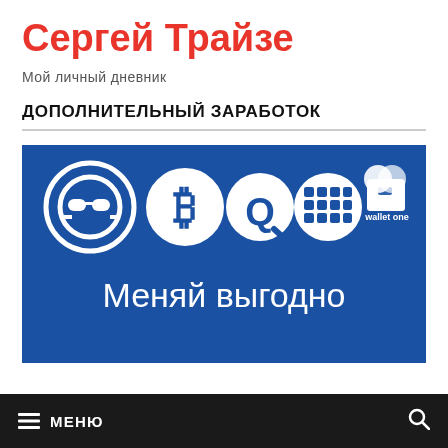Сергей Трайзе
Мой личный дневник
ДОПОЛНИТЕЛЬНЫЙ ЗАРАБОТОК
[Figure (screenshot): Blue banner with cryptocurrency and payment system logos (anonymous, Bitcoin, QIWI, WebMoney, Wallet One) and text 'Меняй выгодно']
≡ МЕНЮ 🔍